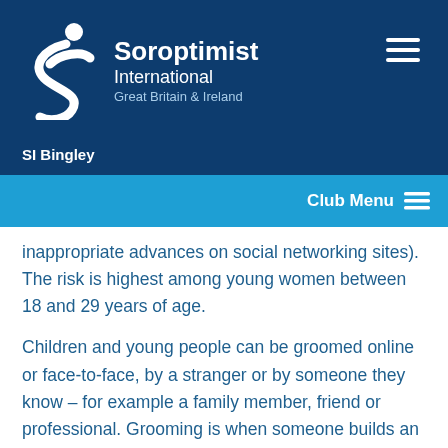[Figure (logo): Soroptimist International Great Britain & Ireland logo with white S-curve figure and text]
SI Bingley
Club Menu
inappropriate advances on social networking sites). The risk is highest among young women between 18 and 29 years of age.
Children and young people can be groomed online or face-to-face, by a stranger or by someone they know – for example a family member, friend or professional. Grooming is when someone builds an emotional connection with a child to gain their trust for the purposes